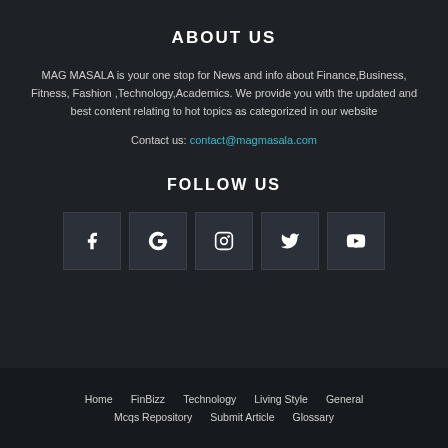ABOUT US
MAG MASALA is your one stop for News and info about Finance,Business, Fitness, Fashion ,Technology,Academics. We provide you with the updated and best content relating to hot topics as categorized in our website
Contact us: contact@magmasala.com
FOLLOW US
[Figure (infographic): Social media icons: Facebook, Google+, Instagram, Twitter, YouTube]
Home  FinBizz  Technology  Living Style  General  Mcqs Repository  Submit Article  Glossary